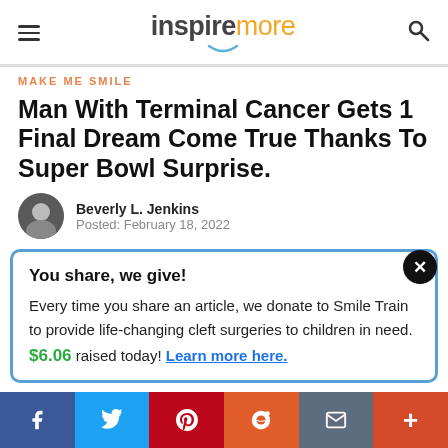inspiremore
MAKE ME SMILE
Man With Terminal Cancer Gets 1 Final Dream Come True Thanks To Super Bowl Surprise.
Beverly L. Jenkins
Posted: February 18, 2022
You share, we give!
Every time you share an article, we donate to Smile Train to provide life-changing cleft surgeries to children in need.
$6.06 raised today! Learn more here.